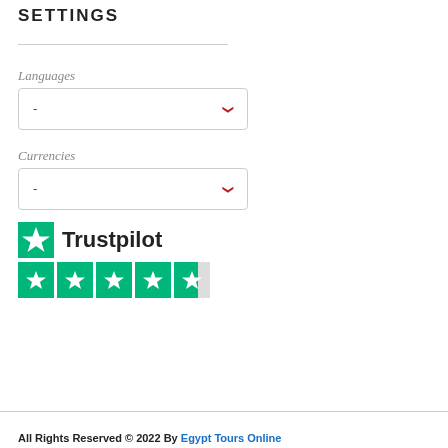SETTINGS
Languages
-
Currencies
-
[Figure (logo): Trustpilot logo with green star icon and 4.5 star rating shown as green star boxes]
All Rights Reserved © 2022 By Egypt Tours Online